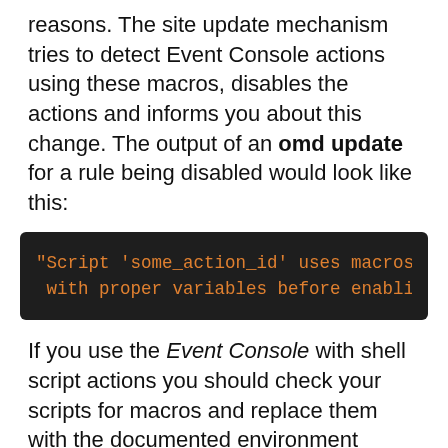reasons. The site update mechanism tries to detect Event Console actions using these macros, disables the actions and informs you about this change. The output of an omd update for a rule being disabled would look like this:
"Script 'some_action_id' uses macros. We d
with proper variables before enabling it a
If you use the Event Console with shell script actions you should check your scripts for macros and replace them with the documented environment variable approach (Setup > Events > Event Console rule packs >